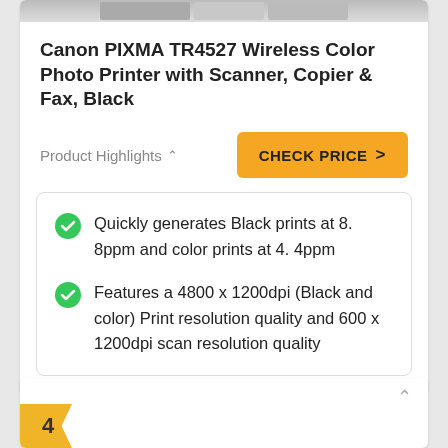Canon PIXMA TR4527 Wireless Color Photo Printer with Scanner, Copier & Fax, Black
Product Highlights ∧
CHECK PRICE >
Quickly generates Black prints at 8. 8ppm and color prints at 4. 4ppm
Features a 4800 x 1200dpi (Black and color) Print resolution quality and 600 x 1200dpi scan resolution quality
4